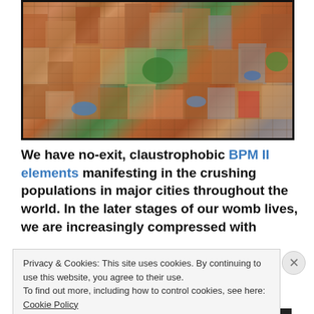[Figure (photo): Aerial view of a densely packed urban slum/favela with crowded brick and tin-roof buildings and a few trees visible.]
We have no-exit, claustrophobic BPM II elements manifesting in the crushing populations in major cities throughout the world. In the later stages of our womb lives, we are increasingly compressed with
Privacy & Cookies: This site uses cookies. By continuing to use this website, you agree to their use.
To find out more, including how to control cookies, see here: Cookie Policy
Close and accept